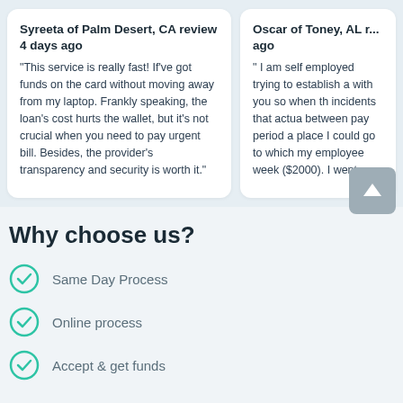Syreeta of Palm Desert, CA review 4 days ago
"This service is really fast! If've got funds on the card without moving away from my laptop. Frankly speaking, the loan's cost hurts the wallet, but it's not crucial when you need to pay urgent bill. Besides, the provider's transparency and security is worth it."
Oscar of Toney, AL r... ago
" I am self employed trying to establish a with you so when th incidents that actua between pay period a place I could go to which my employee week ($2000). I went...
Why choose us?
Same Day Process
Online process
Accept & get funds